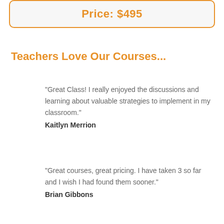Price: $495
Teachers Love Our Courses...
"Great Class! I really enjoyed the discussions and learning about valuable strategies to implement in my classroom."
Kaitlyn Merrion
"Great courses, great pricing. I have taken 3 so far and I wish I had found them sooner."
Brian Gibbons